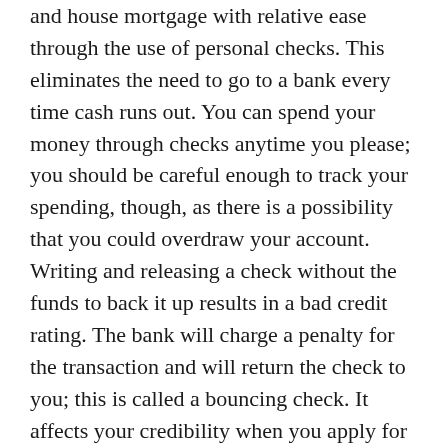and house mortgage with relative ease through the use of personal checks. This eliminates the need to go to a bank every time cash runs out. You can spend your money through checks anytime you please; you should be careful enough to track your spending, though, as there is a possibility that you could overdraw your account. Writing and releasing a check without the funds to back it up results in a bad credit rating. The bank will charge a penalty for the transaction and will return the check to you; this is called a bouncing check. It affects your credibility when you apply for loans or a credit card in the future, and in worst cases, a felony charge may be file against you.
Obviously the issues that you have to contend with in choosing which account to open with varies with how you plan to do away with your money. Do you want the profitability of a savings account? It lets your funds grow, and you are in no danger of overdrawing your account. Do